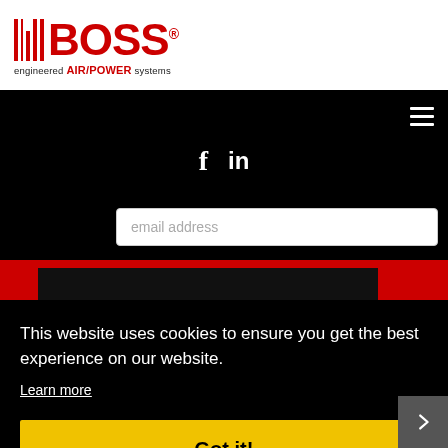[Figure (logo): BOSS engineered AIR/POWER systems logo with red vertical lines and bold red BOSS text]
[Figure (infographic): Dark navigation area with Facebook and LinkedIn social icons, email input field, hamburger menu, and cookie consent overlay with Got it button]
This website uses cookies to ensure you get the best experience on our website.
Learn more
Got it!